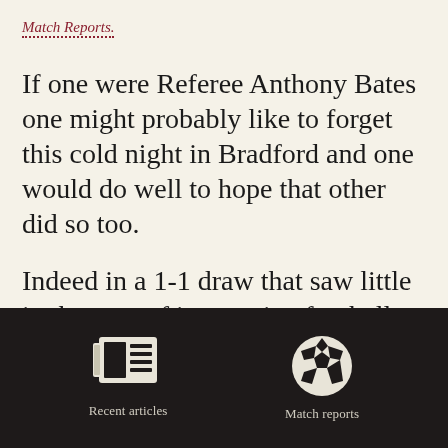Match Reports.
If one were Referee Anthony Bates one might probably like to forget this cold night in Bradford and one would do well to hope that other did so too.
Indeed in a 1-1 draw that saw little in the way of impressive football and much that stood in the way of it one might have looked at the much talked
[Figure (illustration): Navigation bar with two icons: a newspaper/articles icon labeled 'Recent articles' and a soccer ball icon labeled 'Match reports']